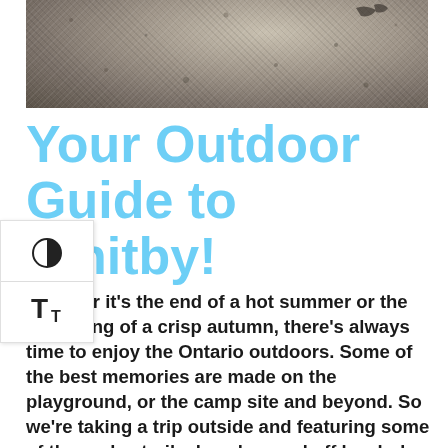[Figure (photo): Close-up photo of sandy/gravelly beach or rocky surface texture, gray and beige tones]
Your Outdoor Guide to Whitby!
Whether it's the end of a hot summer or the beginning of a crisp autumn, there's always time to enjoy the Ontario outdoors. Some of the best memories are made on the playground, or the camp site and beyond. So we're taking a trip outside and featuring some of the parks, trails, beaches and off leash dog parks in Durham region